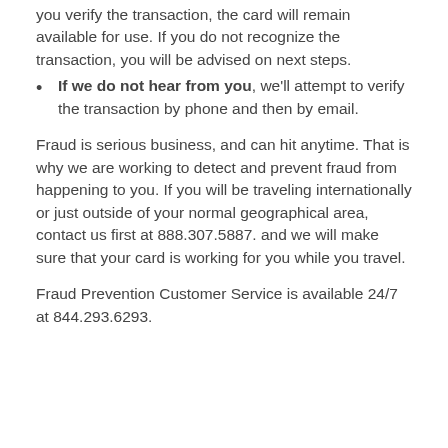you verify the transaction, the card will remain available for use. If you do not recognize the transaction, you will be advised on next steps.
If we do not hear from you, we'll attempt to verify the transaction by phone and then by email.
Fraud is serious business, and can hit anytime. That is why we are working to detect and prevent fraud from happening to you. If you will be traveling internationally or just outside of your normal geographical area, contact us first at 888.307.5887. and we will make sure that your card is working for you while you travel.
Fraud Prevention Customer Service is available 24/7 at 844.293.6293.